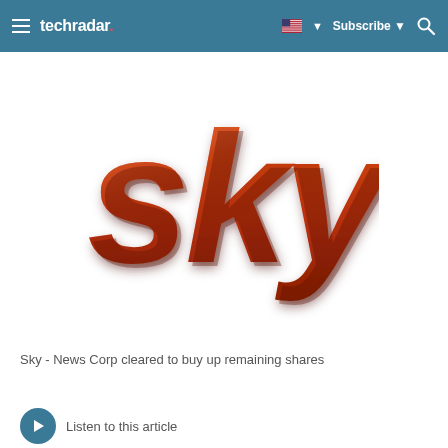techradar. | Subscribe
[Figure (logo): Sky logo in 3D metallic red/bronze lettering spelling 'sky']
Sky - News Corp cleared to buy up remaining shares
Listen to this article